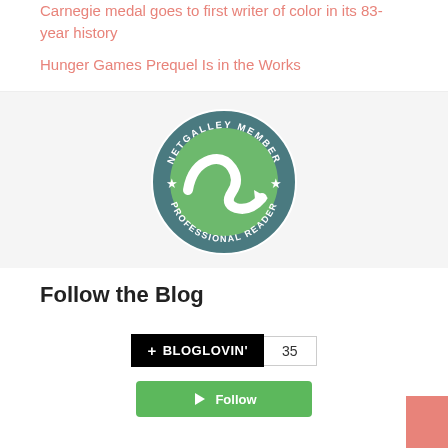Carnegie medal goes to first writer of color in its 83-year history
Hunger Games Prequel Is in the Works
[Figure (logo): NetGalley Member Professional Reader circular badge with green swoosh logo on teal/dark background]
Follow the Blog
[Figure (infographic): Bloglovin follow button with black background showing '+ BLOGLOVIN'' text and count badge showing 35]
[Figure (infographic): Green follow button partially visible at bottom]